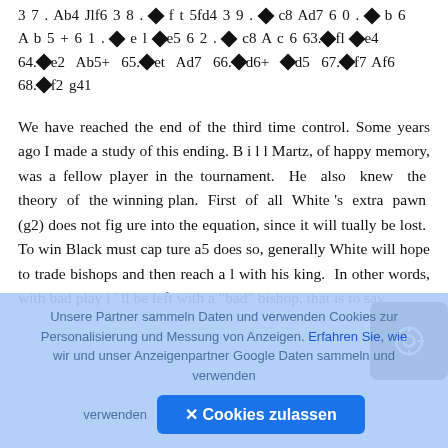3 7 . Ab4 Jlf6 3 8 . ♦ f t 5fd4 3 9 . ♦ c8 Ad7 6 0 . ♦ b 6 A b 5 + 6 1 . ♦ e l ♦e5 6 2 . ♦ c8 A c 6 63.♦fl ♦e4 64.♦e2 Ab5+ 65.♦et Ad7 66.♦d6+ ♦d5 67.♦f7 Af6 68.♦f2 g41
We have reached the end of the third time control. Some years ago I made a study of this ending. B i l l Martz, of happy memory, was a fellow player in the tournament. He also knew the theory of the winning plan. First of all White 's extra pawn (g2) does not fig ure into the equation, since it will tually be lost. To win Black must cap ture a5 does so, generally White will hope to trade bishops and then reach a l with his king. In other words, with bad play l ' ll be left with a "bad" bishop, that is to say
[Figure (other): Dark camera/target button overlay icon]
Unsere Partner sammeln Daten und verwenden Cookies zur Personalisierung und Messung von Anzeigen. Erfahren Sie, wie wir und unser Anzeigenpartner Google Daten sammeln und verwenden